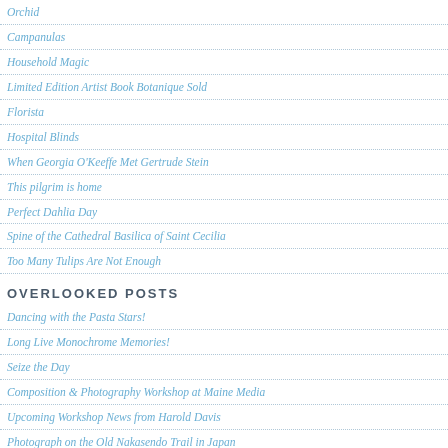Orchid
Campanulas
Household Magic
Limited Edition Artist Book Botanique Sold
Florista
Hospital Blinds
When Georgia O'Keeffe Met Gertrude Stein
This pilgrim is home
Perfect Dahlia Day
Spine of the Cathedral Basilica of Saint Cecilia
Too Many Tulips Are Not Enough
OVERLOOKED POSTS
Dancing with the Pasta Stars!
Long Live Monochrome Memories!
Seize the Day
Composition & Photography Workshop at Maine Media
Upcoming Workshop News from Harold Davis
Photograph on the Old Nakasendo Trail in Japan
Photographing Flowers for Transparency weekend workshop